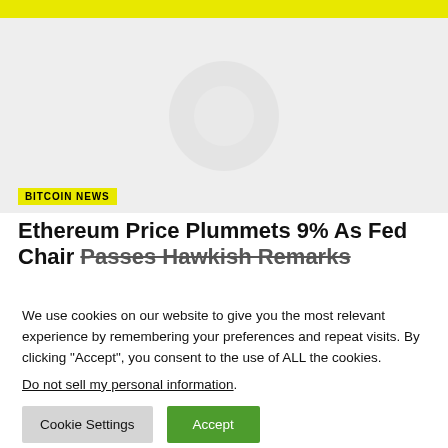[Figure (photo): Hero image area with faint circular/Ethereum-like icon on light gray background]
BITCOIN NEWS
Ethereum Price Plummets 9% As Fed Chair Passes Hawkish Remarks
We use cookies on our website to give you the most relevant experience by remembering your preferences and repeat visits. By clicking “Accept”, you consent to the use of ALL the cookies.
Do not sell my personal information.